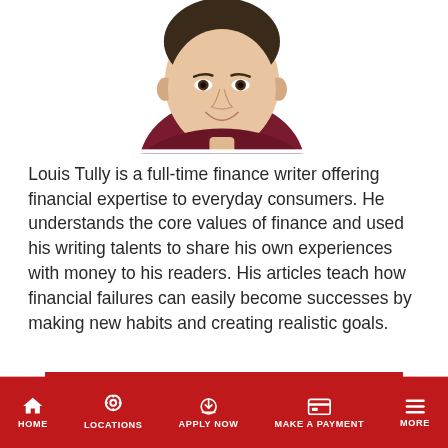[Figure (photo): Headshot photo of Louis Tully, a young man smiling, wearing a dark red/maroon v-neck top, cropped to shoulders]
Louis Tully is a full-time finance writer offering financial expertise to everyday consumers. He understands the core values of finance and used his writing talents to share his own experiences with money to his readers. His articles teach how financial failures can easily become successes by making new habits and creating realistic goals.
About this blog
Browse through the Blog to read articles and tips on managing debt, improving your credit and saving more money!
HOME   LOCATIONS   APPLY NOW   MAKE A PAYMENT   MORE